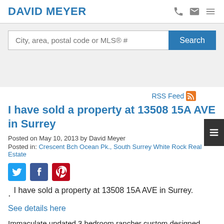DAVID MEYER
City, area, postal code or MLS® #
RSS Feed
I have sold a property at 13508 15A AVE in Surrey
Posted on May 10, 2013 by David Meyer
Posted in: Crescent Bch Ocean Pk., South Surrey White Rock Real Estate
I have sold a property at 13508 15A AVE in Surrey.
See details here
Immaculate updated 3 bedroom rancher custom designed